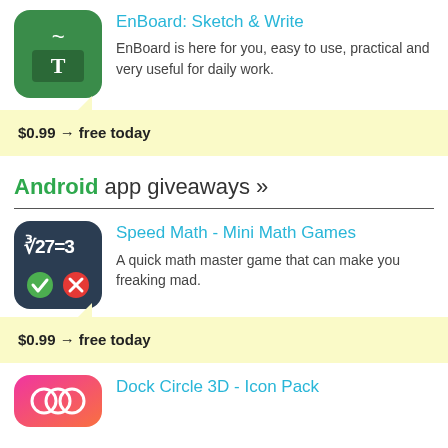[Figure (logo): EnBoard app icon: dark green background with tilde and T characters]
EnBoard: Sketch & Write
EnBoard is here for you, easy to use, practical and very useful for daily work.
$0.99 → free today
Android app giveaways »
[Figure (logo): Speed Math app icon: dark navy background with cube root equation and check/x buttons]
Speed Math - Mini Math Games
A quick math master game that can make you freaking mad.
$0.99 → free today
[Figure (logo): Dock Circle 3D Icon Pack app icon: pink/magenta gradient with circular design]
Dock Circle 3D - Icon Pack